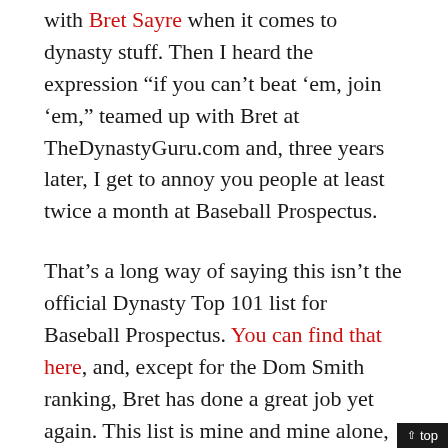with Bret Sayre when it comes to dynasty stuff. Then I heard the expression “if you can’t beat ’em, join ’em,” teamed up with Bret at TheDynastyGuru.com and, three years later, I get to annoy you people at least twice a month at Baseball Prospectus.
That’s a long way of saying this isn’t the official Dynasty Top 101 list for Baseball Prospectus. You can find that here, and, except for the Dom Smith ranking, Bret has done a great job yet again. This list is mine and mine alone, and while there’s some overlap with Bret’s ranking—we do bounce everything off each other and Craig Goldstein—there are some distinct differences, as well as some differences between how I rank players now and how I used to.